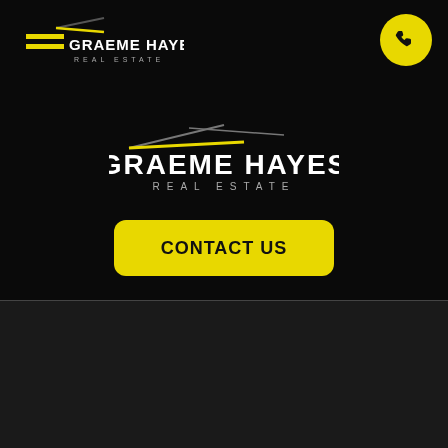[Figure (logo): Graeme Hayes Real Estate logo - small version top left on black background]
[Figure (logo): Yellow circular phone icon button top right]
[Figure (logo): Graeme Hayes Real Estate logo - large centered version on black background]
CONTACT US
Graeme Hayes Real Estate
69 Wellington Street
Korang VIC 3579